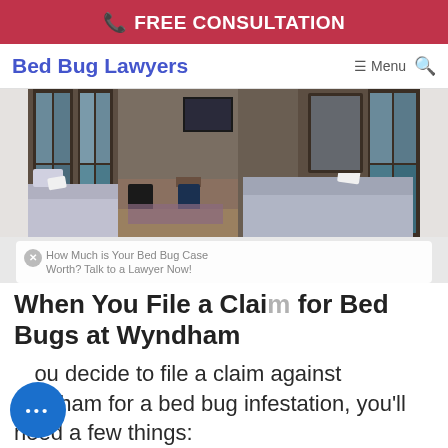FREE CONSULTATION
Bed Bug Lawyers  ☰ Menu 🔍
[Figure (photo): Interior photo of a hotel room with two beds, dark wooden window frames, stone walls, and dim lighting. A television is mounted on the far wall and there are small chairs near a table.]
How Much is Your Bed Bug Case Worth? Talk to a Lawyer Now!
When You File a Claim for Bed Bugs at Wyndham
ou decide to file a claim against ndham for a bed bug infestation, you'll need a few things: